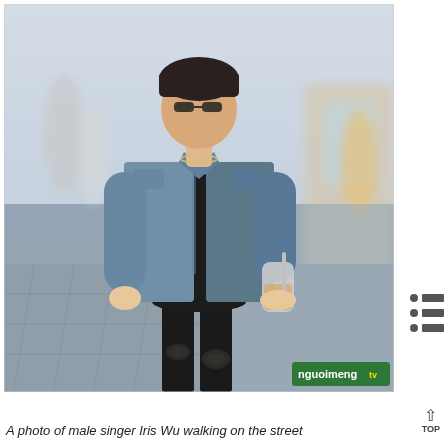[Figure (photo): A male singer Iris Wu walking on the street, wearing a grey denim jacket over a black t-shirt, black ripped jeans, holding an iced drink. Street scene background with blurred pedestrians and storefronts. A 'nguoimeng.tv' watermark appears in the bottom right of the photo.]
A photo of male singer Iris Wu walking on the street